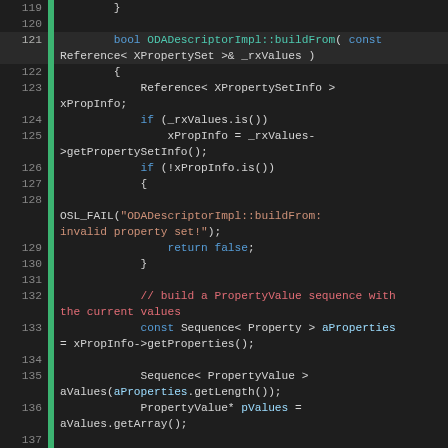[Figure (screenshot): Source code editor showing C++ code lines 119-142, ODADescriptorImpl::buildFrom function implementation with syntax highlighting on dark background]